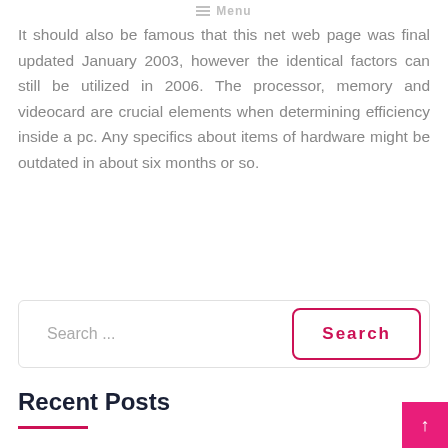Menu
It should also be famous that this net web page was final updated January 2003, however the identical factors can still be utilized in 2006. The processor, memory and videocard are crucial elements when determining efficiency inside a pc. Any specifics about items of hardware might be outdated in about six months or so.
Search ...
Recent Posts